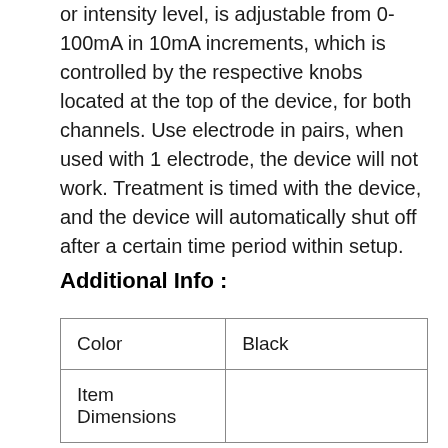or intensity level, is adjustable from 0-100mA in 10mA increments, which is controlled by the respective knobs located at the top of the device, for both channels. Use electrode in pairs, when used with 1 electrode, the device will not work. Treatment is timed with the device, and the device will automatically shut off after a certain time period within setup.
Additional Info :
| Color | Black |
| Item Dimensions |  |